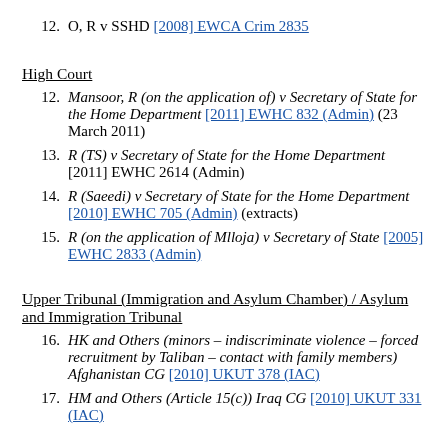12.  O, R v SSHD [2008] EWCA Crim 2835
High Court
12.  Mansoor, R (on the application of) v Secretary of State for the Home Department [2011] EWHC 832 (Admin) (23 March 2011)
13.  R (TS) v Secretary of State for the Home Department [2011] EWHC 2614 (Admin)
14.  R (Saeedi) v Secretary of State for the Home Department [2010] EWHC 705 (Admin) (extracts)
15.  R (on the application of Mlloja) v Secretary of State [2005] EWHC 2833 (Admin)
Upper Tribunal (Immigration and Asylum Chamber) / Asylum and Immigration Tribunal
16.  HK and Others (minors – indiscriminate violence – forced recruitment by Taliban – contact with family members) Afghanistan CG [2010] UKUT 378 (IAC)
17.  HM and Others (Article 15(c)) Iraq CG [2010] UKUT 331 (IAC)